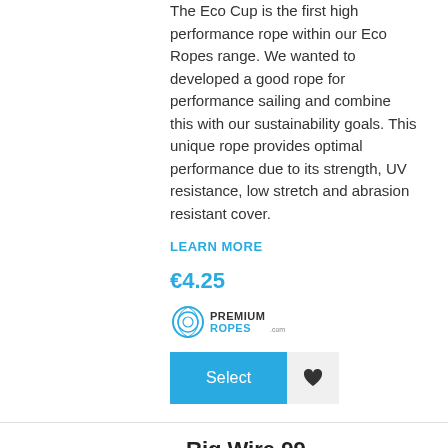The Eco Cup is the first high performance rope within our Eco Ropes range. We wanted to developed a good rope for performance sailing and combine this with our sustainability goals. This unique rope provides optimal performance due to its strength, UV resistance, low stretch and abrasion resistant cover.
LEARN MORE
€4.25
[Figure (logo): PremiumRopes brand logo with circular rope icon and PREMIUMROPES.com text]
Select
Rig Wire 99
SKU: PRR469
[Figure (photo): Close-up photo of a gray wire/rope product]
Application: Standing Rigging, Guard rail